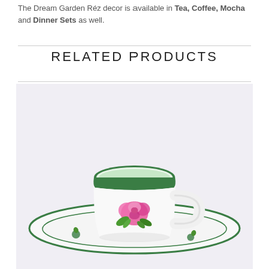The Dream Garden Réz decor is available in Tea, Coffee, Mocha and Dinner Sets as well.
RELATED PRODUCTS
[Figure (photo): A white porcelain mocha/espresso cup and saucer with green rim and pink rose floral decoration, set on a light grey/white background. The cup has a small handle on the right side and features hand-painted pink rose with green leaves motif.]